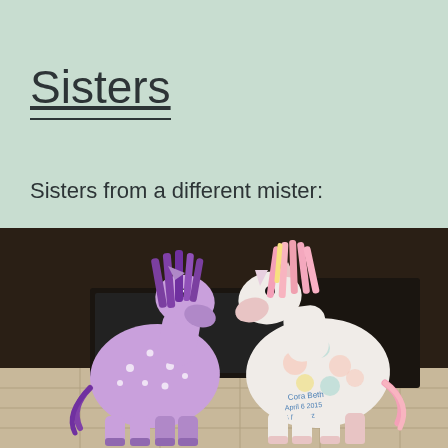Sisters
Sisters from a different mister:
[Figure (photo): Two stuffed animal unicorn/horse toys facing each other. Left one is purple with white polka dots and a purple mane. Right one is white with colorful floral patterns and a pink mane, with handwritten text on its side reading 'Cora Beth April 6 2015 6 lbs 3 oz'.]